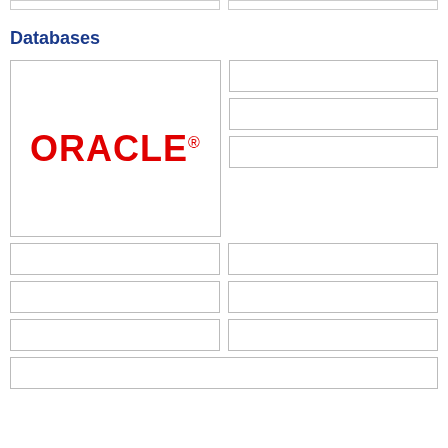[Figure (other): Two empty bordered boxes at the top of the page]
Databases
[Figure (logo): Oracle logo in red bold text]
[Figure (other): Three small empty bordered boxes stacked on the right side next to the Oracle logo]
[Figure (other): Grid of empty bordered boxes below the Oracle logo section - two columns of small boxes]